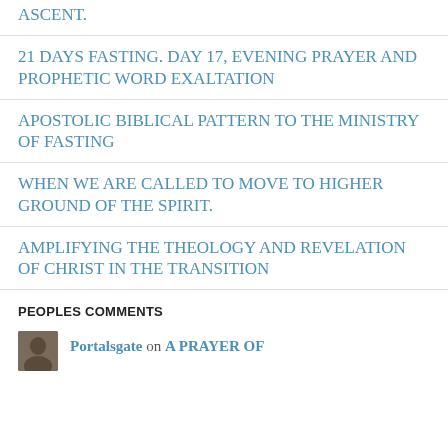ASCENT.
21 DAYS FASTING. DAY 17, EVENING PRAYER AND PROPHETIC WORD EXALTATION
APOSTOLIC BIBLICAL PATTERN TO THE MINISTRY OF FASTING
WHEN WE ARE CALLED TO MOVE TO HIGHER GROUND OF THE SPIRIT.
AMPLIFYING THE THEOLOGY AND REVELATION OF CHRIST IN THE TRANSITION
PEOPLES COMMENTS
Portalsgate on A PRAYER OF